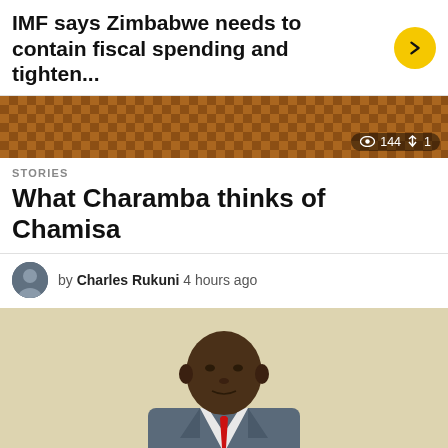IMF says Zimbabwe needs to contain fiscal spending and tighten...
[Figure (photo): Partial image of previous article with view count 144 and share count 1]
STORIES
What Charamba thinks of Chamisa
by Charles Rukuni 4 hours ago
[Figure (photo): Photo of a man in a grey suit with red tie, viewed from a slight angle, against a light beige background. View count 110 shown.]
STORIES